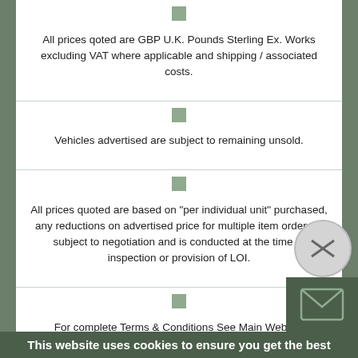All prices qoted are GBP U.K. Pounds Sterling Ex. Works excluding VAT where applicable and shipping / associated costs.
Vehicles advertised are subject to remaining unsold.
All prices quoted are based on "per individual unit" purchased, any reductions on advertised price for multiple item orders is subject to negotiation and is conducted at the time of inspection or provision of LOI.
For complete Terms & Conditions See Main Website
Photo's shown above may represent a vehicle type rather than an actual vehicle, vehicles are available serviced and painted to customers preference
This website uses cookies to ensure you get the best